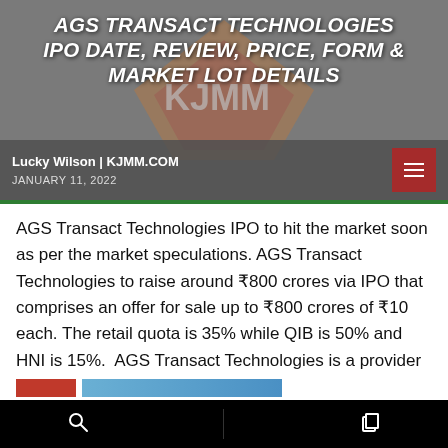AGS TRANSACT TECHNOLOGIES IPO DATE, REVIEW, PRICE, FORM & MARKET LOT DETAILS
Lucky Wilson | KJMM.COM
JANUARY 11, 2022
AGS Transact Technologies IPO to hit the market soon as per the market speculations. AGS Transact Technologies to raise around ₹800 crores via IPO that comprises an offer for sale up to ₹800 crores of ₹10 each. The retail quota is 35% while QIB is 50% and HNI is 15%.  AGS Transact Technologies is a provider [...]